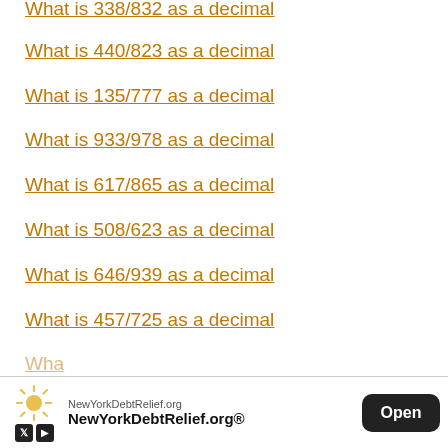What is 338/832 as a decimal
What is 440/823 as a decimal
What is 135/777 as a decimal
What is 933/978 as a decimal
What is 617/865 as a decimal
What is 508/623 as a decimal
What is 646/939 as a decimal
What is 457/725 as a decimal
What is [partially obscured] as a decimal